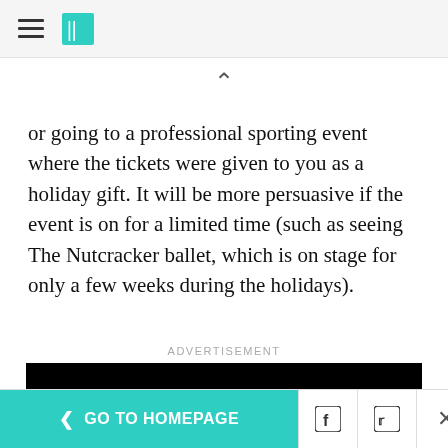HuffPost navigation header with hamburger menu and logo
or going to a professional sporting event where the tickets were given to you as a holiday gift. It will be more persuasive if the event is on for a limited time (such as seeing The Nutcracker ballet, which is on stage for only a few weeks during the holidays).
ADVERTISEMENT
[Figure (screenshot): Black video player with a white play button triangle in the center]
< GO TO HOMEPAGE | Facebook icon | Twitter icon | X (close)